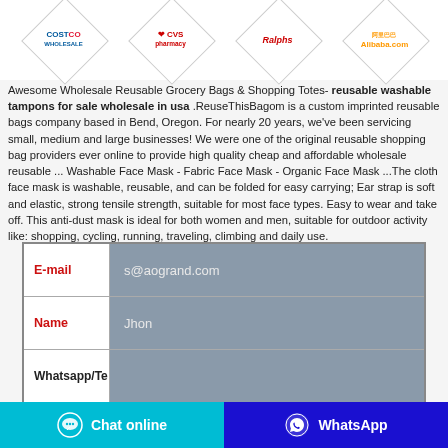[Figure (logo): Four retailer logos in diamond shapes: Costco, CVS pharmacy, Ralphs, Alibaba.com]
Awesome Wholesale Reusable Grocery Bags & Shopping Totes- reusable washable tampons for sale wholesale in usa .ReuseThisBagom is a custom imprinted reusable bags company based in Bend, Oregon. For nearly 20 years, we've been servicing small, medium and large businesses! We were one of the original reusable shopping bag providers ever online to provide high quality cheap and affordable wholesale reusable ... Washable Face Mask - Fabric Face Mask - Organic Face Mask ...The cloth face mask is washable, reusable, and can be folded for easy carrying; Ear strap is soft and elastic, strong tensile strength, suitable for most face types. Easy to wear and take off. This anti-dust mask is ideal for both women and men, suitable for outdoor activity like: shopping, cycling, running, traveling, climbing and daily use.
| Field | Value |
| --- | --- |
| E-mail | s@aogrand.com |
| Name | Jhon |
| Whatsapp/Te |  |
| Country | USA |
Chat online
WhatsApp